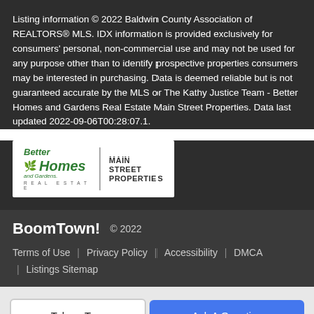Listing information © 2022 Baldwin County Association of REALTORS® MLS. IDX information is provided exclusively for consumers' personal, non-commercial use and may not be used for any purpose other than to identify prospective properties consumers may be interested in purchasing. Data is deemed reliable but is not guaranteed accurate by the MLS or The Kathy Justice Team - Better Homes and Gardens Real Estate Main Street Properties. Data last updated 2022-09-06T00:28:07.1.
[Figure (logo): Better Homes and Gardens Real Estate Main Street Properties logo — green text on white background with vertical divider]
BoomTown! © 2022  Terms of Use | Privacy Policy | Accessibility | DMCA | Listings Sitemap